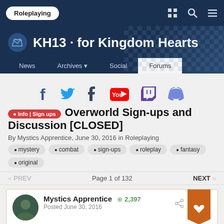Roleplaying | KH13 · for Kingdom Hearts | News | Archives | Social | Forums
[Figure (logo): Social media icons: Facebook, Twitter, Tumblr, YouTube, Twitch, Discord]
● Info | Sign ups   Overworld Sign-ups and Discussion [CLOSED]
By Mystics Apprentice, June 30, 2016 in Roleplaying
● mystery  ● combat  ● sign-ups  ● roleplay  ● fantasy  ● original
« PREV   Page 1 of 132   NEXT »
Mystics Apprentice  ⊕ 2,397
Posted June 30, 2016
{This roleplay is currently closed to new characters due to being in the